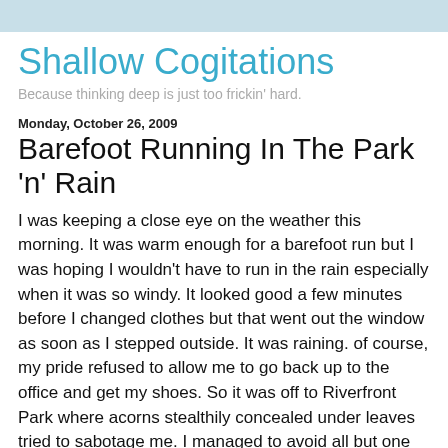Shallow Cogitations
Because thinking deep is just too frickin' hard.
Monday, October 26, 2009
Barefoot Running In The Park 'n' Rain
I was keeping a close eye on the weather this morning. It was warm enough for a barefoot run but I was hoping I wouldn't have to run in the rain especially when it was so windy. It looked good a few minutes before I changed clothes but that went out the window as soon as I stepped outside. It was raining. of course, my pride refused to allow me to go back up to the office and get my shoes. So it was off to Riverfront Park where acorns stealthily concealed under leaves tried to sabotage me. I managed to avoid all but one and it got me good--right in the arch. Other than that it was an uneventful run, but it wouldn't be complete without some lighter moments.